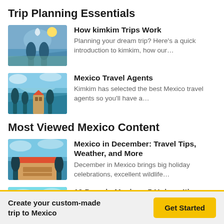Trip Planning Essentials
How kimkim Trips Work — Planning your dream trip? Here's a quick introduction to kimkim, how our…
Mexico Travel Agents — Kimkim has selected the best Mexico travel agents so you'll have a…
Most Viewed Mexico Content
Mexico in December: Travel Tips, Weather, and More — December in Mexico brings big holiday celebrations, excellent wildlife…
10 Days in Mexico - 5 Unique Itinerary Ideas — If you have ten days to spend in Mexico, you have time to mix cultural…
Create your custom-made trip to Mexico  [Get Started]